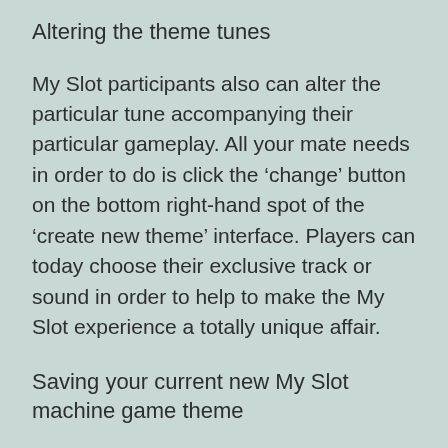Altering the theme tunes
My Slot participants also can alter the particular tune accompanying their particular gameplay. All your mate needs in order to do is click the ‘change’ button on the bottom right-hand spot of the ‘create new theme’ interface. Players can today choose their exclusive track or sound in order to help to make the My Slot experience a totally unique affair.
Saving your current new My Slot machine game theme